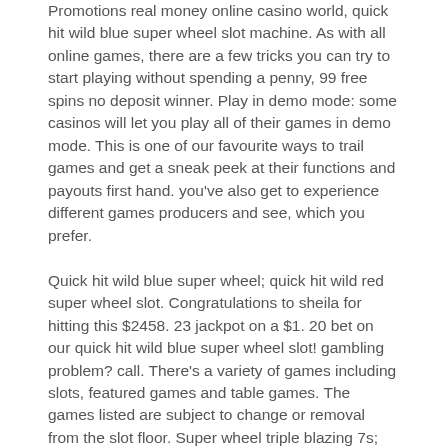Promotions real money online casino world, quick hit wild blue super wheel slot machine. As with all online games, there are a few tricks you can try to start playing without spending a penny, 99 free spins no deposit winner. Play in demo mode: some casinos will let you play all of their games in demo mode. This is one of our favourite ways to trail games and get a sneak peek at their functions and payouts first hand. you've also get to experience different games producers and see, which you prefer. Quick hit wild blue super wheel; quick hit wild red super wheel slot. Congratulations to sheila for hitting this $2458. 23 jackpot on a $1. 20 bet on our quick hit wild blue super wheel slot! gambling problem? call. There's a variety of games including slots, featured games and table games. The games listed are subject to change or removal from the slot floor. Super wheel triple blazing 7s; quick